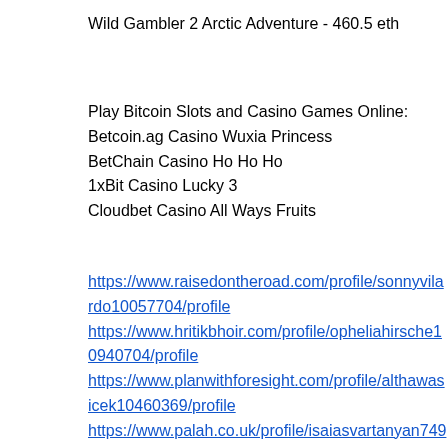Wild Gambler 2 Arctic Adventure - 460.5 eth
Play Bitcoin Slots and Casino Games Online:
Betcoin.ag Casino Wuxia Princess
BetChain Casino Ho Ho Ho
1xBit Casino Lucky 3
Cloudbet Casino All Ways Fruits
https://www.raisedontheroad.com/profile/sonnyvilardo10057704/profile
https://www.hritikbhoir.com/profile/opheliahirsche10940704/profile
https://www.planwithforesight.com/profile/althawasicek10460369/profile
https://www.palah.co.uk/profile/isaiasvartanyan7492701/profile